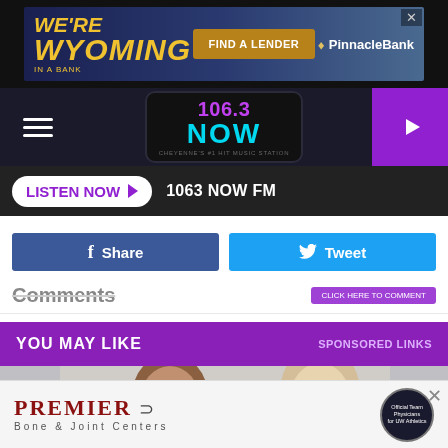[Figure (screenshot): Wyoming bank advertisement banner with Pinnacle Bank logo and Find a Lender button]
106.3 NOW FM radio station navigation bar with hamburger menu and play button
LISTEN NOW ▶  1063 NOW FM
f  Share    🐦  Tweet
Comments
YOU MAY LIKE    SPONSORED LINKS
[Figure (photo): Two women looking at something together, appears to be a sponsored content photo]
[Figure (advertisement): Premier Bone & Joint Centers advertisement with logo]